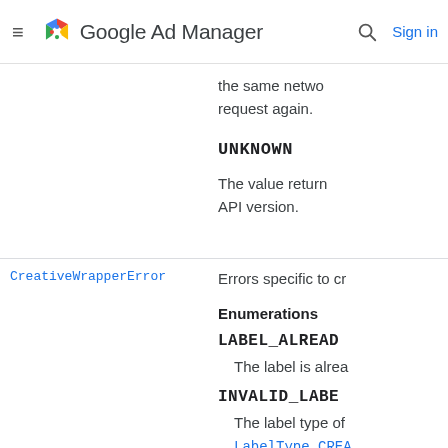Google Ad Manager
the same netwo request again.
UNKNOWN
The value return API version.
CreativeWrapperError — Errors specific to cr
Enumerations
LABEL_ALREAD
The label is alrea
INVALID_LABE
The label type of LabelType.CREA